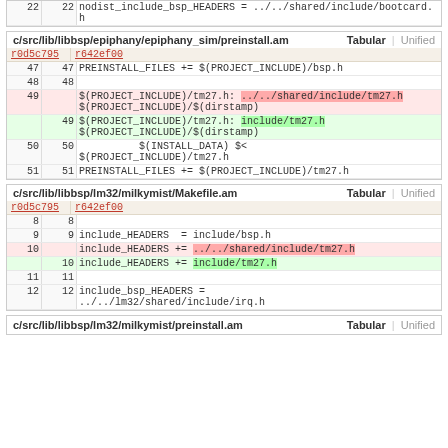| old | new | code |
| --- | --- | --- |
| 22 | 22 | nodist_include_bsp_HEADERS = ../../shared/include/bootcard.h |
c/src/lib/libbsp/epiphany/epiphany_sim/preinstall.am
| r0d5c795 | r642ef00 | code |
| --- | --- | --- |
| 47 | 47 | PREINSTALL_FILES += $(PROJECT_INCLUDE)/bsp.h |
| 48 | 48 |  |
| 49 |  | $(PROJECT_INCLUDE)/tm27.h: ../../shared/include/tm27.h $(PROJECT_INCLUDE)/$(dirstamp) |
|  | 49 | $(PROJECT_INCLUDE)/tm27.h: include/tm27.h $(PROJECT_INCLUDE)/$(dirstamp) |
| 50 | 50 | $(INSTALL_DATA) $< $(PROJECT_INCLUDE)/tm27.h |
| 51 | 51 | PREINSTALL_FILES += $(PROJECT_INCLUDE)/tm27.h |
c/src/lib/libbsp/lm32/milkymist/Makefile.am
| r0d5c795 | r642ef00 | code |
| --- | --- | --- |
| 8 | 8 |  |
| 9 | 9 | include_HEADERS  = include/bsp.h |
| 10 |  | include_HEADERS += ../../shared/include/tm27.h |
|  | 10 | include_HEADERS += include/tm27.h |
| 11 | 11 |  |
| 12 | 12 | include_bsp_HEADERS = ../../lm32/shared/include/irq.h |
c/src/lib/libbsp/lm32/milkymist/preinstall.am